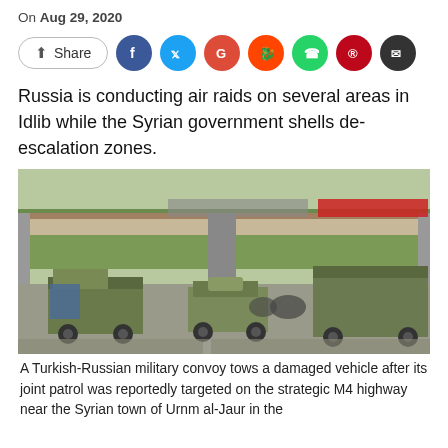On Aug 29, 2020
Share (social media icons: Facebook, Twitter, Google, Reddit, WhatsApp, Pinterest, Email)
Russia is conducting air raids on several areas in Idlib while the Syrian government shells de-escalation zones.
[Figure (photo): A Turkish-Russian military convoy with armored vehicles on a road passing under an overpass, with trees in the background.]
A Turkish-Russian military convoy tows a damaged vehicle after its joint patrol was reportedly targeted on the strategic M4 highway near the Syrian town of Urnm al-Jaur in the